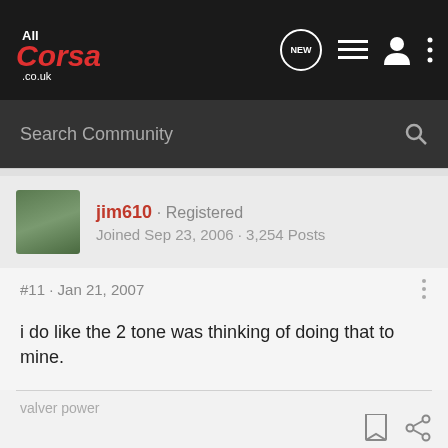AllCorsa.co.uk navigation bar with logo, NEW button, list icon, user icon, more options icon
Search Community
jim610 · Registered
Joined Sep 23, 2006 · 3,254 Posts
#11 · Jan 21, 2007
i do like the 2 tone was thinking of doing that to mine.
valver power